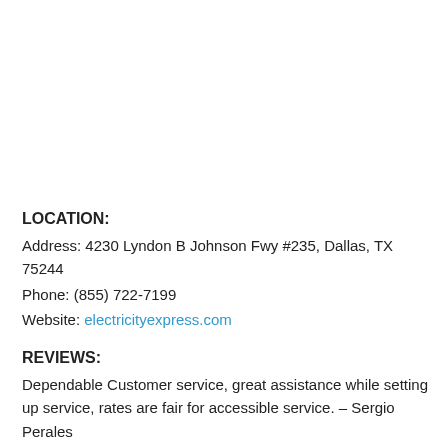LOCATION:
Address: 4230 Lyndon B Johnson Fwy #235, Dallas, TX 75244
Phone: (855) 722-7199
Website: electricityexpress.com
REVIEWS:
Dependable Customer service, great assistance while setting up service, rates are fair for accessible service. – Sergio Perales